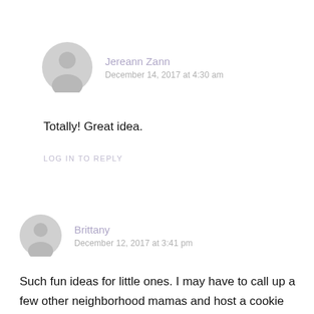Jereann Zann
December 14, 2017 at 4:30 am
Totally! Great idea.
LOG IN TO REPLY
Brittany
December 12, 2017 at 3:41 pm
Such fun ideas for little ones. I may have to call up a few other neighborhood mamas and host a cookie